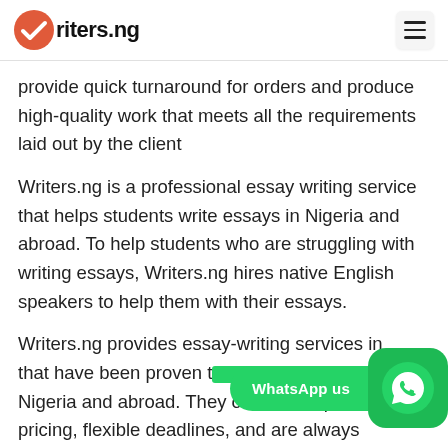Writers.ng
provide quick turnaround for orders and produce high-quality work that meets all the requirements laid out by the client
Writers.ng is a professional essay writing service that helps students write essays in Nigeria and abroad. To help students who are struggling with writing essays, Writers.ng hires native English speakers to help them with their essays.
Writers.ng provides essay-writing services in that have been proven to help them offe Nigeria and abroad. They offer a competitive pricing, flexible deadlines, and are always available 24/7 for customer service support.